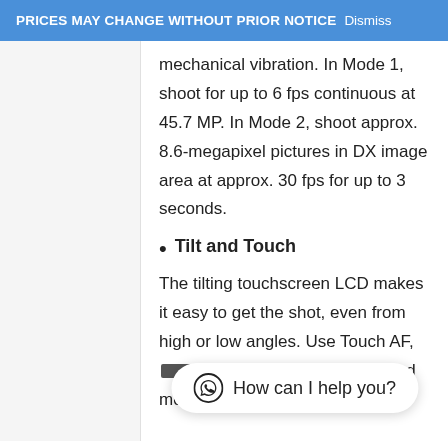PRICES MAY CHANGE WITHOUT PRIOR NOTICE Dismiss
mechanical vibration. In Mode 1, shoot for up to 6 fps continuous at 45.7 MP. In Mode 2, shoot approx. 8.6-megapixel pictures in DX image area at approx. 30 fps for up to 3 seconds.
Tilt and Touch
The tilting touchscreen LCD makes it easy to get the shot, even from high or low angles. Use Touch AF, Touch menus, playback and more